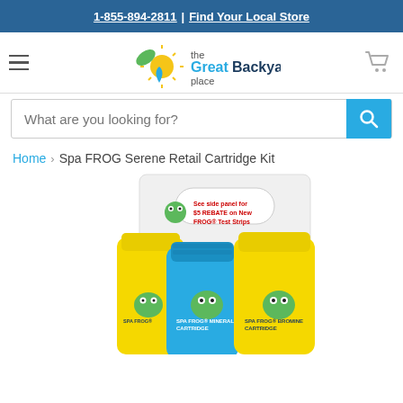1-855-894-2811 | Find Your Local Store
[Figure (logo): The Great Backyard Place logo with sun, leaf, and water drop icon]
[Figure (other): Search bar with placeholder 'What are you looking for?' and blue search button]
Home > Spa FROG Serene Retail Cartridge Kit
[Figure (photo): Spa FROG Serene Retail Cartridge Kit product photo showing blue and yellow cartridges in a white carrier. Label reads 'See side panel for $5 REBATE on New FROG Test Strips'. Cartridges labeled SPA FROG MINERAL CARTRIDGE and SPA FROG BROMINE CARTRIDGE.]